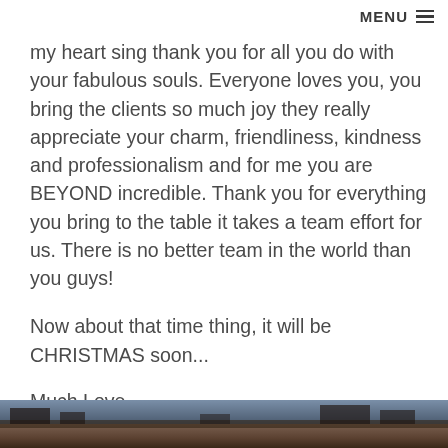MENU ≡
my heart sing thank you for all you do with your fabulous souls. Everyone loves you, you bring the clients so much joy they really appreciate your charm, friendliness, kindness and professionalism and for me you are BEYOND incredible. Thank you for everything you bring to the table it takes a team effort for us. There is no better team in the world than you guys!
Now about that time thing, it will be CHRISTMAS soon...
Much Love,
Lucinda E
[Figure (photo): Partial view of a photo strip at the bottom of the page showing a dark outdoor scene, possibly a building or landscape, with warm brown/reddish tones.]